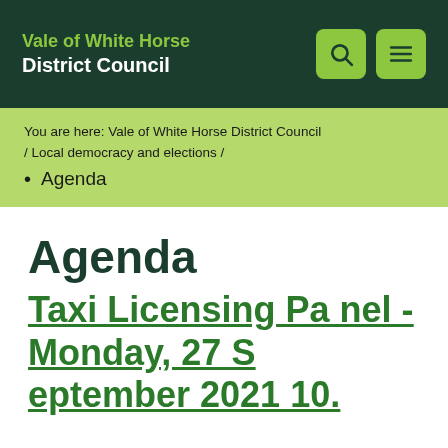Vale of White Horse District Council
You are here: Vale of White Horse District Council / Local democracy and elections /
Agenda
Agenda
Taxi Licensing Panel - Monday, 27 September 2021 10.